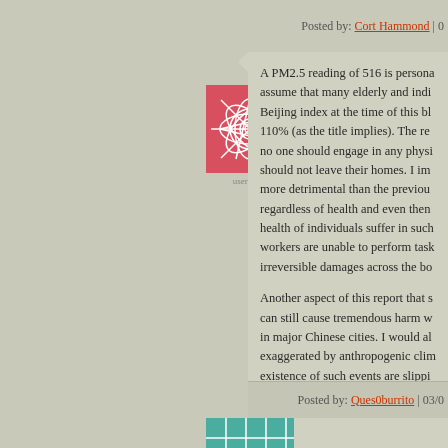Posted by: Cort Hammond | 0
[Figure (illustration): Square avatar image with pink/red geometric floral pattern on white background]
A PM2.5 reading of 516 is persona... assume that many elderly and indi... Beijing index at the time of this bl... 110% (as the title implies). The re... no one should engage in any physi... should not leave their homes. I im... more detrimental than the previou... regardless of health and even then health of individuals suffer in suc... workers are unable to perform tas... irreversible damages across the bo...
Another aspect of this report that s... can still cause tremendous harm w... in major Chinese cities. I would al... exaggerated by anthropogenic cli... existence of such events are slipp... as it pleases. One thing is for certa... expect do some more in the future...
Posted by: Ques0burrito | 03/0
[Figure (illustration): Square avatar image with teal/green pattern, partially visible at bottom of page]